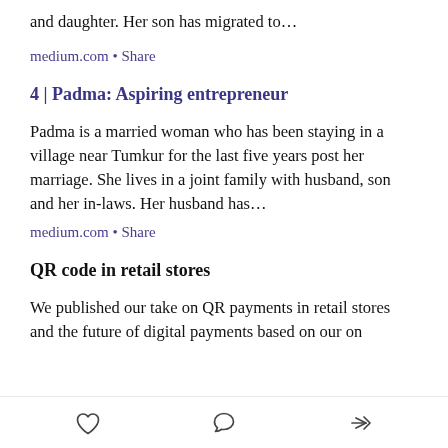and daughter. Her son has migrated to…
medium.com • Share
4 | Padma: Aspiring entrepreneur
Padma is a married woman who has been staying in a village near Tumkur for the last five years post her marriage. She lives in a joint family with husband, son and her in-laws. Her husband has…
medium.com • Share
QR code in retail stores
We published our take on QR payments in retail stores and the future of digital payments based on our on